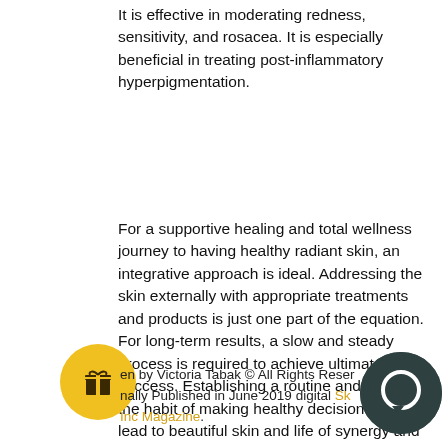It is effective in moderating redness, sensitivity, and rosacea. It is especially beneficial in treating post-inflammatory hyperpigmentation.
For a supportive healing and total wellness journey to having healthy radiant skin, an integrative approach is ideal. Addressing the skin externally with appropriate treatments and products is just one part of the equation. For long-term results, a slow and steady process is required to achieve ultimate success. Establishing a routine and being in the habit of making healthy decisions will lead to beautiful skin and life of synergy and balance.
Written by Victoria Tabak © All Rights Reserved. Originally Published in June 2019 digital Skin Inc Magazine.